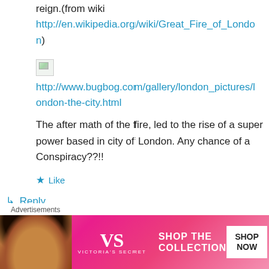reign.(from wiki http://en.wikipedia.org/wiki/Great_Fire_of_London)
[Figure (photo): Broken image placeholder thumbnail]
http://www.bugbog.com/gallery/london_pictures/london-the-city.html
The after math of the fire, led to the rise of a super power based in city of London. Any chance of a Conspiracy??!!
★ Like
↳ Reply
Advertisements
[Figure (photo): Victoria's Secret advertisement banner showing model and 'SHOP THE COLLECTION' text with 'SHOP NOW' button]